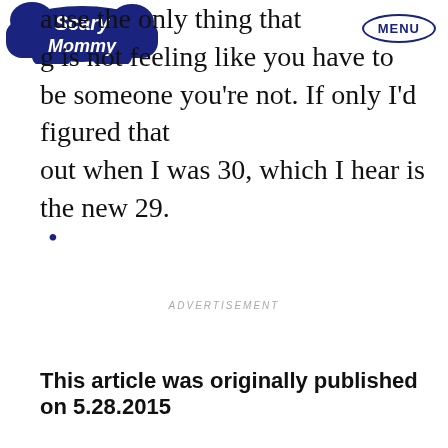Scary Mommy | MENU
ause the only thing that …g is not feeling like you have to be someone you're not. If only I'd figured that out when I was 30, which I hear is the new 29.
•
ADVERTISEMENT
This article was originally published on 5.28.2015